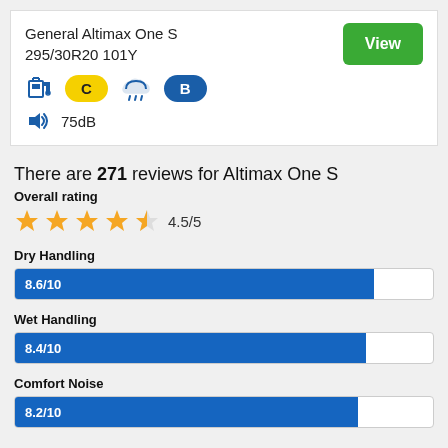General Altimax One S
295/30R20 101Y
View
[Figure (infographic): Fuel efficiency icon, yellow C badge, wet grip icon with rain cloud, blue B badge, sound icon with 75dB label]
There are 271 reviews for Altimax One S
Overall rating
[Figure (infographic): 4.5 out of 5 stars rating shown with orange stars, labeled 4.5/5]
Dry Handling
[Figure (bar-chart): Dry Handling]
Wet Handling
[Figure (bar-chart): Wet Handling]
Comfort Noise
[Figure (bar-chart): Comfort Noise]